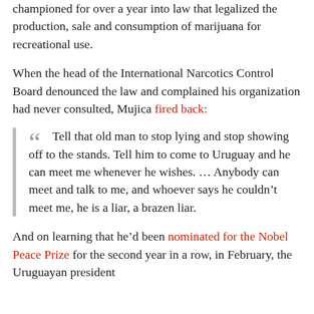championed for over a year into law that legalized the production, sale and consumption of marijuana for recreational use.
When the head of the International Narcotics Control Board denounced the law and complained his organization had never consulted, Mujica fired back:
“ Tell that old man to stop lying and stop showing off to the stands. Tell him to come to Uruguay and he can meet me whenever he wishes. … Anybody can meet and talk to me, and whoever says he couldn’t meet me, he is a liar, a brazen liar.
And on learning that he’d been nominated for the Nobel Peace Prize for the second year in a row, in February, the Uruguayan president